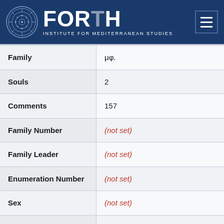[Figure (logo): FORTH - Institute for Mediterranean Studies logo with circular emblem]
| Field | Value |
| --- | --- |
| Family | μφ. |
| Souls | 2 |
| Comments | 157 |
| Family Number | (not set) |
| Family Leader | (not set) |
| Enumeration Number | (not set) |
| Sex | (not set) |
| Family Position | (not set) |
| Marital Status | (not set) |
| Education | (not set) |